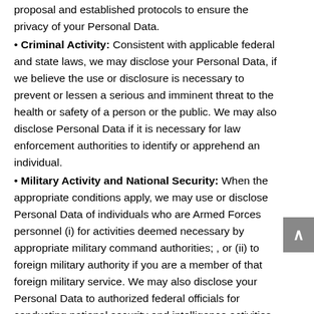proposal and established protocols to ensure the privacy of your Personal Data.
Criminal Activity: Consistent with applicable federal and state laws, we may disclose your Personal Data, if we believe the use or disclosure is necessary to prevent or lessen a serious and imminent threat to the health or safety of a person or the public. We may also disclose Personal Data if it is necessary for law enforcement authorities to identify or apprehend an individual.
Military Activity and National Security: When the appropriate conditions apply, we may use or disclose Personal Data of individuals who are Armed Forces personnel (i) for activities deemed necessary by appropriate military command authorities; , or (ii) to foreign military authority if you are a member of that foreign military service. We may also disclose your Personal Data to authorized federal officials for conducting national security and intelligence activities.
Workers' Compensation: We may disclose your Personal Data as authorized to comply with workers' compensation laws and other similar legally-established programs.